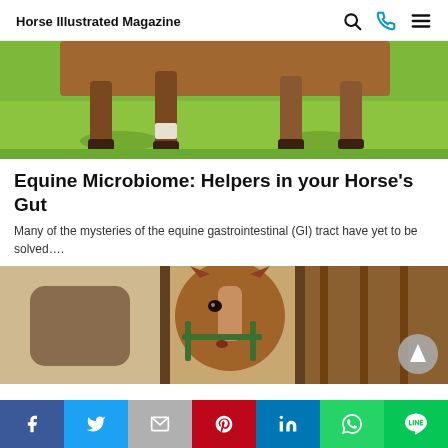Horse Illustrated Magazine
[Figure (photo): Close-up of horse legs and hooves walking on green grass]
Equine Microbiome: Helpers in your Horse's Gut
Many of the mysteries of the equine gastrointestinal (GI) tract have yet to be solved….
[Figure (photo): Horse looking out from stable stall through metal bars, wearing green halter]